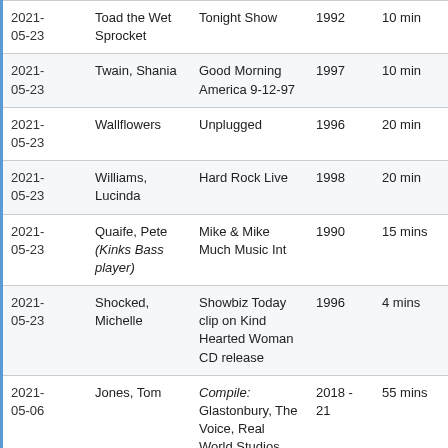| 2021-05-23 | Toad the Wet Sprocket | Tonight Show | 1992 | 10 min |
| 2021-05-23 | Twain, Shania | Good Morning America 9-12-97 | 1997 | 10 min |
| 2021-05-23 | Wallflowers | Unplugged | 1996 | 20 min |
| 2021-05-23 | Williams, Lucinda | Hard Rock Live | 1998 | 20 min |
| 2021-05-23 | Quaife, Pete (Kinks Bass player) | Mike & Mike Much Music Int | 1990 | 15 mins |
| 2021-05-23 | Shocked, Michelle | Showbiz Today clip on Kind Hearted Woman CD release | 1996 | 4 mins |
| 2021-05-06 | Jones, Tom | Compile: Glastonbury, The Voice, Real World Studios, The One Show, Kimmy Kimmel Live (Available on Blu Ray) | 2018-21 | 55 mins |